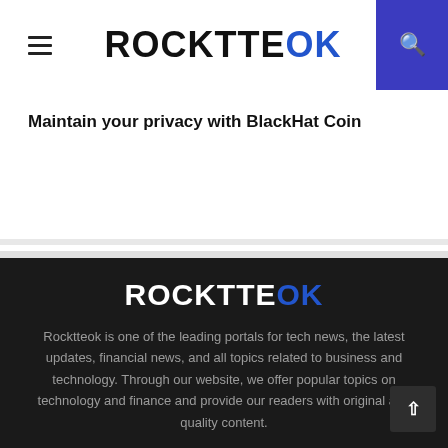ROCKTTEOK
Maintain your privacy with BlackHat Coin
[Figure (logo): ROCKTTEOK logo in white and blue text on dark background]
Rocktteok is one of the leading portals for tech news, the latest updates, financial news, and all topics related to business and technology. Through our website, we offer popular topics on technology and finance and provide our readers with original and quality content.
Contact us: contact@binarynewsnetwork.com